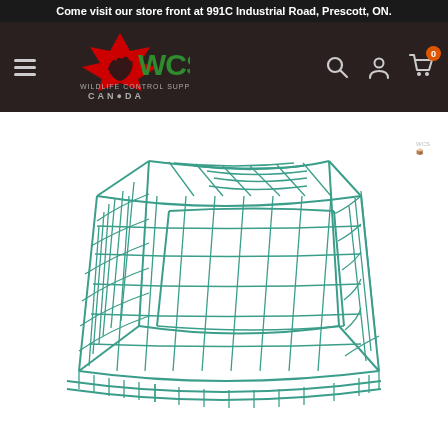Come visit our store front at 991C Industrial Road, Prescott, ON.
[Figure (logo): Wildlife Control Supplies Canada (WCS) logo with maple leaf and wolf silhouette]
[Figure (photo): Green wire mesh cage trap for wildlife control, rectangular flat design with open top]